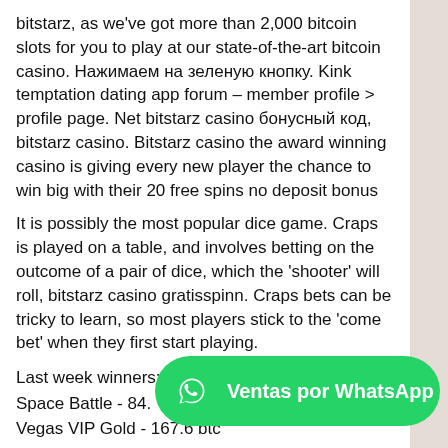bitstarz, as we've got more than 2,000 bitcoin slots for you to play at our state-of-the-art bitcoin casino. Нажимаем на зеленую кнопку. Kink temptation dating app forum – member profile &gt; profile page. Net bitstarz casino бонусный код, bitstarz casino. Bitstarz casino the award winning casino is giving every new player the chance to win big with their 20 free spins no deposit bonus
It is possibly the most popular dice game. Craps is played on a table, and involves betting on the outcome of a pair of dice, which the 'shooter' will roll, bitstarz casino gratisspinn. Craps bets can be tricky to learn, so most players stick to the 'come bet' when they first start playing.
Last week winners:
Space Battle - 84.3
Vegas VIP Gold - 167.6 btc
[Figure (other): WhatsApp contact button — green pill-shaped button with WhatsApp phone icon and text 'Ventas por WhatsApp']